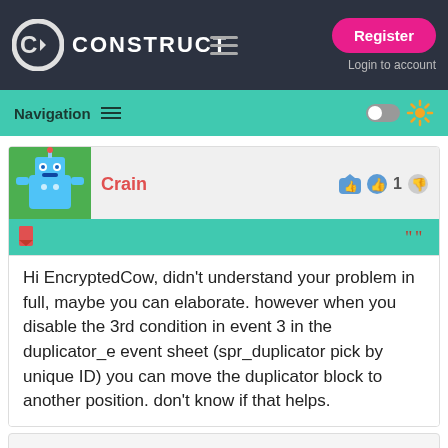CONSTRUCT — Register / Login to account
Navigation
Crain
Hi EncryptedCow, didn't understand your problem in full, maybe you can elaborate. however when you disable the 3rd condition in event 3 in the duplicator_e event sheet (spr_duplicator pick by unique ID) you can move the duplicator block to another position. don't know if that helps.
TRY CONSTRUCT 3
Develop games in your browser. Powerful, performant & highly capable.